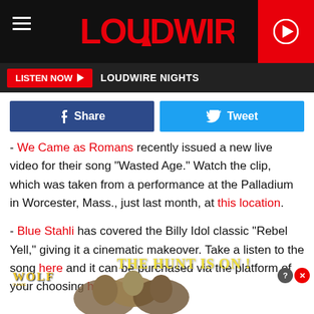LOUDWIRE | LISTEN NOW ▶ LOUDWIRE NIGHTS
Share | Tweet
- We Came as Romans recently issued a new live video for their song "Wasted Age." Watch the clip, which was taken from a performance at the Palladium in Worcester, Mass., just last month, at this location.
- Blue Stahli has covered the Billy Idol classic "Rebel Yell," giving it a cinematic makeover. Take a listen to the song here and it can be purchased via the platform of your choosing here.
[Figure (screenshot): Wolf game advertisement banner: 'WOLF' title with wolves image and text 'THE HUNT IS ON!']